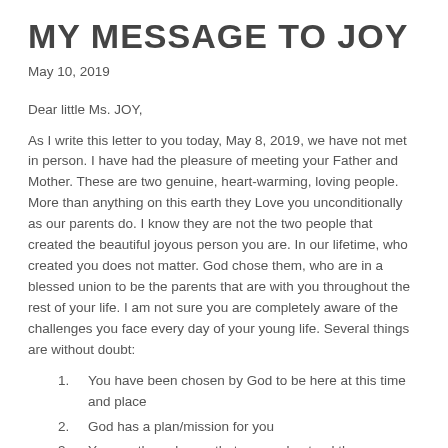MY MESSAGE TO JOY
May 10, 2019
Dear little Ms. JOY,
As I write this letter to you today, May 8, 2019, we have not met in person. I have had the pleasure of meeting your Father and Mother. These are two genuine, heart-warming, loving people. More than anything on this earth they Love you unconditionally as our parents do. I know they are not the two people that created the beautiful joyous person you are. In our lifetime, who created you does not matter. God chose them, who are in a blessed union to be the parents that are with you throughout the rest of your life. I am not sure you are completely aware of the challenges you face every day of your young life. Several things are without doubt:
You have been chosen by God to be here at this time and place
God has a plan/mission for you
You are the only one that can understand the plan/mission you've been chosen for